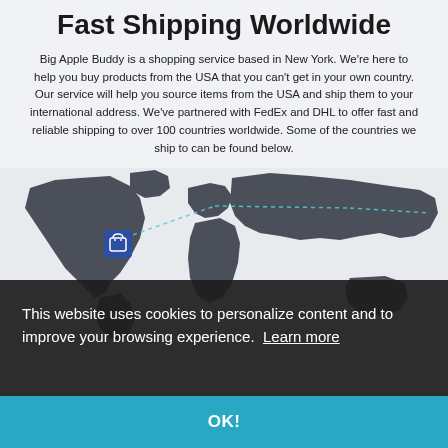Fast Shipping Worldwide
Big Apple Buddy is a shopping service based in New York. We're here to help you buy products from the USA that you can't get in your own country. Our service will help you source items from the USA and ship them to your international address. We've partnered with FedEx and DHL to offer fast and reliable shipping to over 100 countries worldwide. Some of the countries we ship to can be found below.
[Figure (map): World map in dark grey/slate color showing shipping routes as dashed cyan/teal dotted lines originating from a shopping bag icon marker in North America, extending to Europe and Asia.]
This website uses cookies to personalize content and to improve your browsing experience. Learn more
OK!